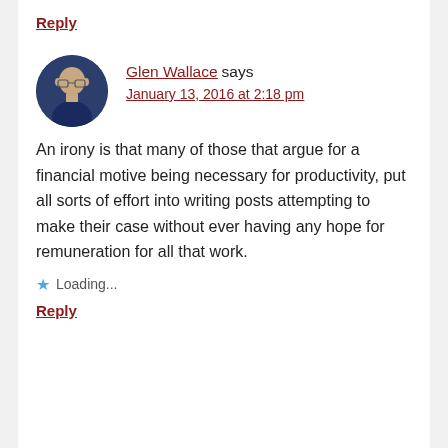Reply
Glen Wallace says
January 13, 2016 at 2:18 pm
An irony is that many of those that argue for a financial motive being necessary for productivity, put all sorts of effort into writing posts attempting to make their case without ever having any hope for remuneration for all that work.
Loading...
Reply